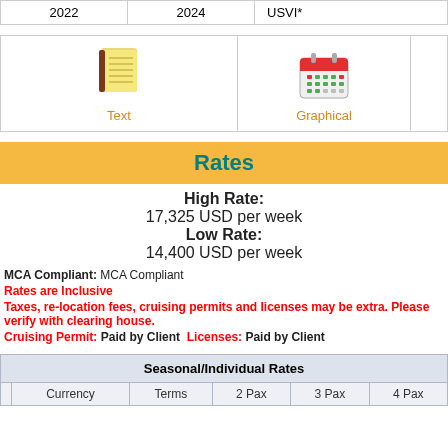| 2022 | 2024 | USVI* |
| --- | --- | --- |
| Text | Graphical |
| --- | --- |
Rates
High Rate: 17,325 USD per week
Low Rate: 14,400 USD per week
MCA Compliant: MCA Compliant
Rates are Inclusive
Taxes, re-location fees, cruising permits and licenses may be extra. Please verify with clearing house.
Cruising Permit: Paid by Client  Licenses: Paid by Client
| Seasonal/Individual Rates |
| --- |
| Currency | Terms | 2 Pax | 3 Pax | 4 Pax | 5 Pa |